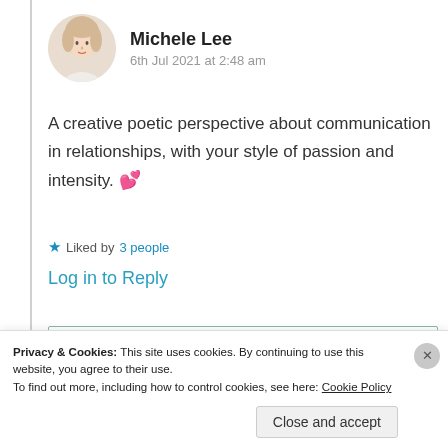Michele Lee
6th Jul 2021 at 2:48 am
A creative poetic perspective about communication in relationships, with your style of passion and intensity. 💕
Liked by 3 people
Log in to Reply
Privacy & Cookies: This site uses cookies. By continuing to use this website, you agree to their use. To find out more, including how to control cookies, see here: Cookie Policy
Close and accept